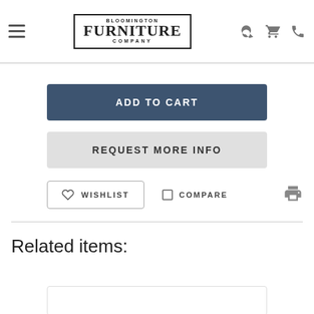Bloomington Furniture Company — navigation header
ADD TO CART
REQUEST MORE INFO
WISHLIST
COMPARE
Related items: